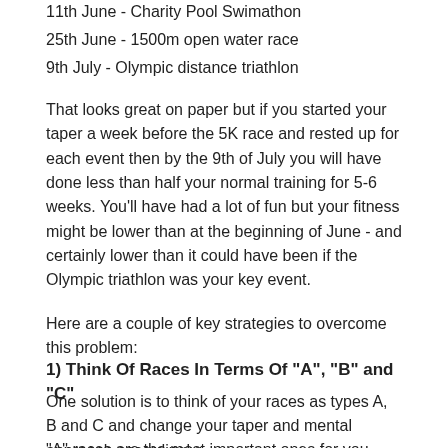11th June - Charity Pool Swimathon
25th June - 1500m open water race
9th July - Olympic distance triathlon
That looks great on paper but if you started your taper a week before the 5K race and rested up for each event then by the 9th of July you will have done less than half your normal training for 5-6 weeks. You'll have had a lot of fun but your fitness might be lower than at the beginning of June - and certainly lower than it could have been if the Olympic triathlon was your key event.
Here are a couple of key strategies to overcome this problem:
1) Think Of Races In Terms Of "A", "B" and "C"
One solution is to think of your races as types A, B and C and change your taper and mental approach accordingly:
"A" races are the most important ones for you, they're the ones that are getting you fired up and where you want to